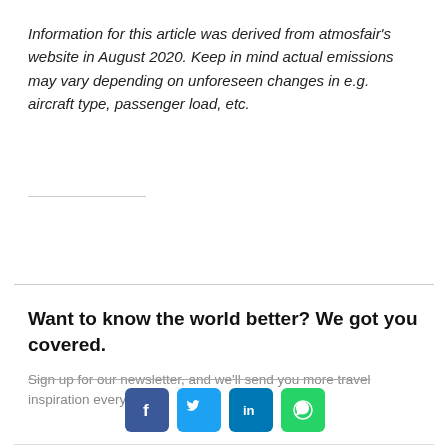Information for this article was derived from atmosfair's website in August 2020. Keep in mind actual emissions may vary depending on unforeseen changes in e.g. aircraft type, passenger load, etc.
Want to know the world better? We got you covered.
Sign up for our newsletter, and we'll send you more travel inspiration every w... s... inbox.
[Figure (infographic): Social media share icons: Facebook (blue), Twitter (light blue), LinkedIn (dark blue), WhatsApp (green)]